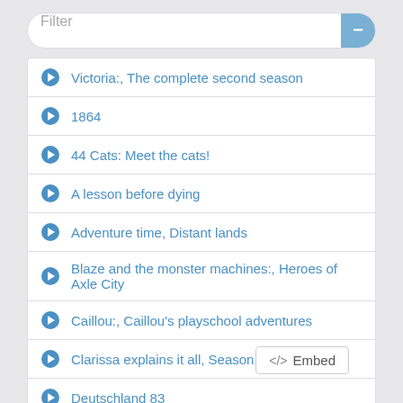Filter
Victoria:, The complete second season
1864
44 Cats: Meet the cats!
A lesson before dying
Adventure time, Distant lands
Blaze and the monster machines:, Heroes of Axle City
Caillou:, Caillou's playschool adventures
Clarissa explains it all, Season one
Deutschland 83
</> Embed